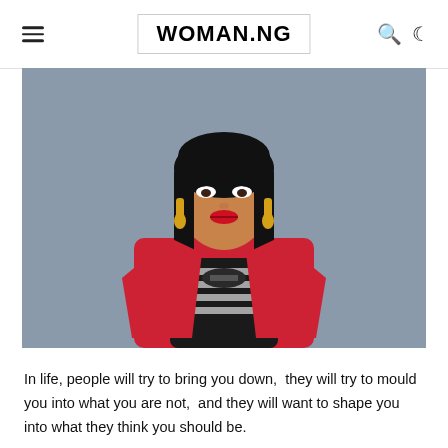WOMAN.NG
[Figure (photo): A woman with long black hair wearing a red blazer over a black and white striped bustier top, smiling at the camera against a grey background.]
In life, people will try to bring you down,  they will try to mould you into what you are not,  and they will want to shape you into what they think you should be.